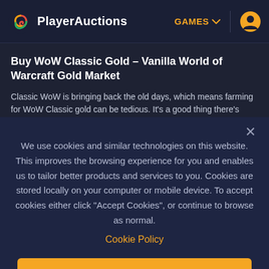PlayerAuctions — GAMES
Buy WoW Classic Gold – Vanilla World of Warcraft Gold Market
Classic WoW is bringing back the old days, which means farming for WoW Classic gold can be tedious. It's a good thing there's
We use cookies and similar technologies on this website. This improves the browsing experience for you and enables us to tailor better products and services to you. Cookies are stored locally on your computer or mobile device. To accept cookies either click "Accept Cookies", or continue to browse as normal.
Cookie Policy
ACCEPT COOKIES
Cookie Settings and Details